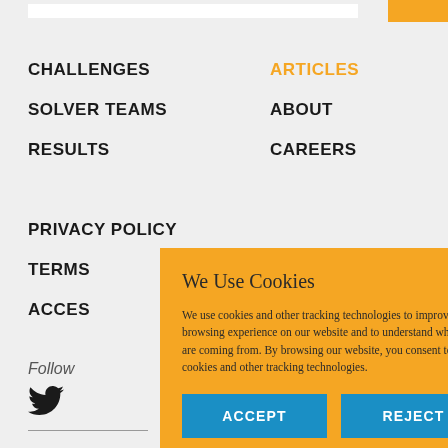CHALLENGES
ARTICLES
SOLVER TEAMS
ABOUT
RESULTS
CAREERS
PRIVACY POLICY
TERMS
ACCES
Follow
[Figure (illustration): Twitter bird icon in black]
We Use Cookies

We use cookies and other tracking technologies to improve your browsing experience on our website and to understand where our visitors are coming from. By browsing our website, you consent to our use of cookies and other tracking technologies.

ACCEPT   REJECT